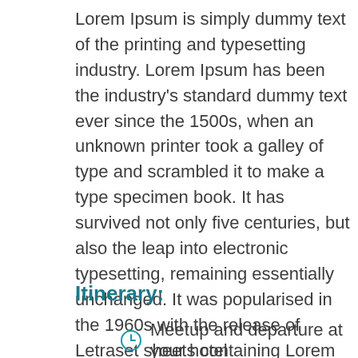Lorem Ipsum is simply dummy text of the printing and typesetting industry. Lorem Ipsum has been the industry's standard dummy text ever since the 1500s, when an unknown printer took a galley of type and scrambled it to make a type specimen book. It has survived not only five centuries, but also the leap into electronic typesetting, remaining essentially unchanged. It was popularised in the 1960s with the release of Letraset sheets containing Lorem Ipsum passages, and more recently with desktop publishing software like Aldus PageMaker including versions of Lorem Ipsum.
Itinerary:
Meetup and departure at your hotel